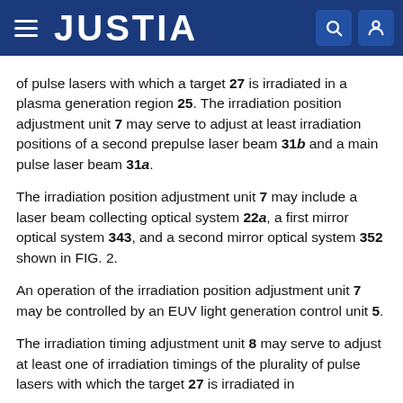JUSTIA
of pulse lasers with which a target 27 is irradiated in a plasma generation region 25. The irradiation position adjustment unit 7 may serve to adjust at least irradiation positions of a second prepulse laser beam 31b and a main pulse laser beam 31a.
The irradiation position adjustment unit 7 may include a laser beam collecting optical system 22a, a first mirror optical system 343, and a second mirror optical system 352 shown in FIG. 2.
An operation of the irradiation position adjustment unit 7 may be controlled by an EUV light generation control unit 5.
The irradiation timing adjustment unit 8 may serve to adjust at least one of irradiation timings of the plurality of pulse lasers with which the target 27 is irradiated in